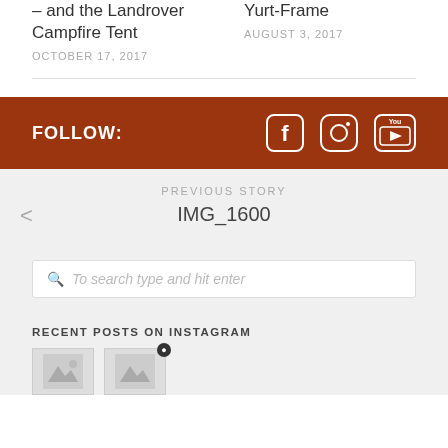– and the Landrover Campfire Tent
OCTOBER 17, 2017
Yurt-Frame
AUGUST 3, 2017
FOLLOW:
[Figure (illustration): Social media icons: Facebook, Instagram, YouTube on dark red background]
PREVIOUS STORY
IMG_1600
To search type and hit enter
RECENT POSTS ON INSTAGRAM
[Figure (photo): Two small Instagram thumbnail images partially visible at bottom]